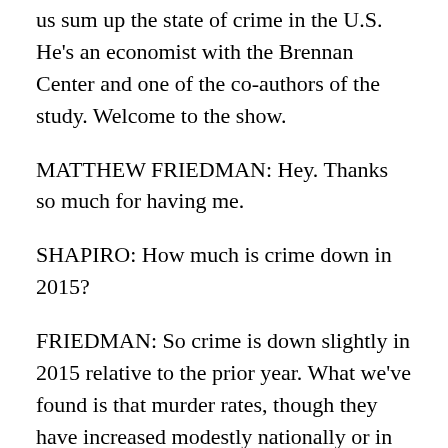us sum up the state of crime in the U.S. He's an economist with the Brennan Center and one of the co-authors of the study. Welcome to the show.
MATTHEW FRIEDMAN: Hey. Thanks so much for having me.
SHAPIRO: How much is crime down in 2015?
FRIEDMAN: So crime is down slightly in 2015 relative to the prior year. What we've found is that murder rates, though they have increased modestly nationally or in the 30 cities we studied, that overall crime have actually fallen by about 1.5 percent.
SHAPIRO: And that doesn't seem like very much, but I